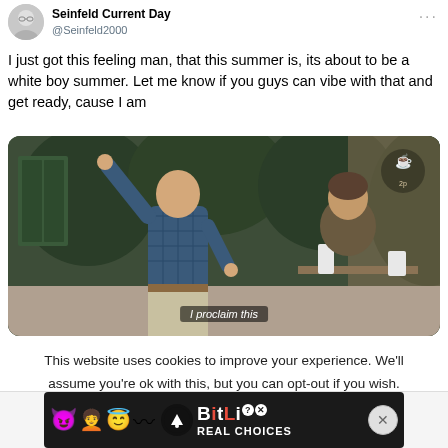Seinfeld Current Day @Seinfeld2000
I just got this feeling man, that this summer is, its about to be a white boy summer. Let me know if you guys can vibe with that and get ready, cause I am
[Figure (screenshot): Screenshot from Seinfeld TV show with a man raising his arm outdoors, subtitle text reads 'I proclaim this']
This website uses cookies to improve your experience. We'll assume you're ok with this, but you can opt-out if you wish.
[Figure (advertisement): BitLife - Real Choices advertisement banner with emoji characters and dark background]